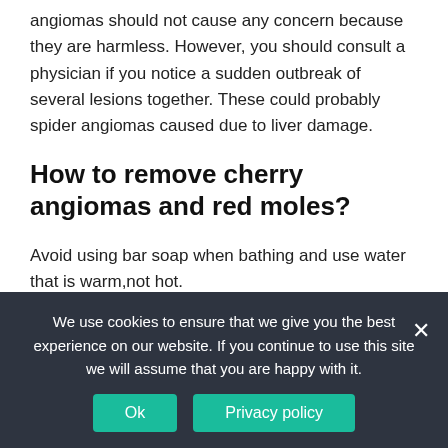angiomas should not cause any concern because they are harmless. However, you should consult a physician if you notice a sudden outbreak of several lesions together. These could probably spider angiomas caused due to liver damage.
How to remove cherry angiomas and red moles?
Avoid using bar soap when bathing and use water that is warm,not hot.
We use cookies to ensure that we give you the best experience on our website. If you continue to use this site we will assume that you are happy with it.